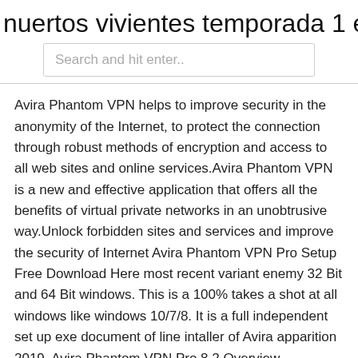muertos vivientes temporada 1 episo…
Search and hit enter..
Avira Phantom VPN helps to improve security in the anonymity of the Internet, to protect the connection through robust methods of encryption and access to all web sites and online services.Avira Phantom VPN is a new and effective application that offers all the benefits of virtual private networks in an unobtrusive way.Unlock forbidden sites and services and improve the security of Internet Avira Phantom VPN Pro Setup Free Download Here most recent variant enemy 32 Bit and 64 Bit windows. This is a 100% takes a shot at all windows like windows 10/7/8. It is a full independent set up exe document of line intaller of Avira apparition 2019. Avira Phantom VPN Pro 8.2 Overview.
Avira Phantom VPN opiniones 2021: ¿Merece la pena?
This tool supports several flexible language enthusiasts, but